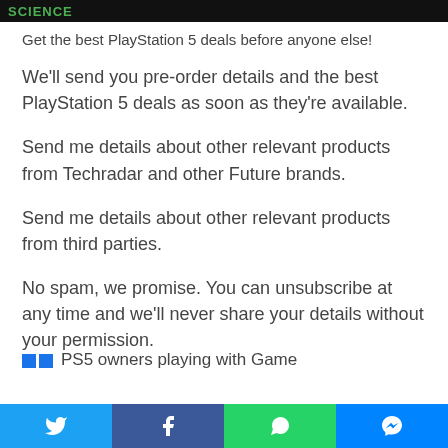SCIENCE
Get the best PlayStation 5 deals before anyone else!
We'll send you pre-order details and the best PlayStation 5 deals as soon as they're available.
Send me details about other relevant products from Techradar and other Future brands.
Send me details about other relevant products from third parties.
No spam, we promise. You can unsubscribe at any time and we'll never share your details without your permission.
PS5 owners playing with Game…